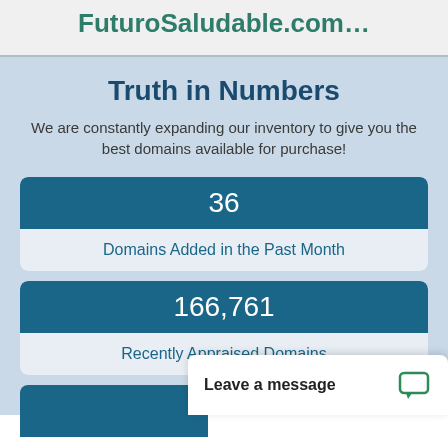FuturoSaludable.com…
Truth in Numbers
We are constantly expanding our inventory to give you the best domains available for purchase!
36
Domains Added in the Past Month
166,761
Recently Appraised Domains
Leave a message